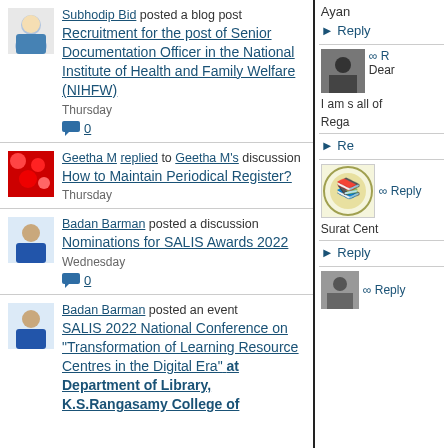Subhodip Bid posted a blog post
Recruitment for the post of Senior Documentation Officer in the National Institute of Health and Family Welfare (NIHFW)
Thursday
0
Geetha M replied to Geetha M's discussion How to Maintain Periodical Register?
Thursday
Badan Barman posted a discussion
Nominations for SALIS Awards 2022
Wednesday
0
Badan Barman posted an event
SALIS 2022 National Conference on "Transformation of Learning Resource Centres in the Digital Era" at Department of Library, K.S.Rangasamy College of
Ayan
► Reply
∞ R
Dear
I am s all of
Rega
► Re
∞ Reply
Surat Cent
► Reply
∞ Reply